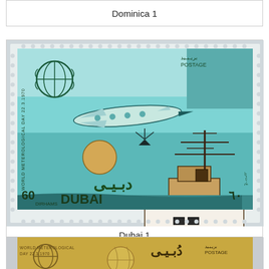Dominica 1
[Figure (photo): A Dubai postage stamp showing World Meteorological Day 23.3.1970, depicting a weather ship with antenna towers and an airplane flying above, with Arabic text 'Dubai' and denomination '60 Dirhams'. Teal/green and brown colors.]
Dubai 1
[Figure (photo): Partial view of another Dubai stamp, gold/sepia toned, showing World Meteorological Day 23.3.1970 with WMO logo, Arabic text, and POSTAGE inscription. Only top portion visible.]